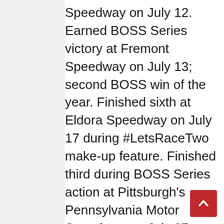Speedway on July 12. Earned BOSS Series victory at Fremont Speedway on July 13; second BOSS win of the year. Finished sixth at Eldora Speedway on July 17 during #LetsRaceTwo make-up feature. Finished third during BOSS Series action at Pittsburgh's Pennsylvania Motor Speedway on July 27. Earned victory at Limaland Motorsports Park on Friday, August 2. Earned back-to-back third place finishes during BOSS action at Gas City and Oakshade Raceway. Finished fourth during Dick Gaines Memorial at Lawrenceburg Speedway on August 17. Earned BOSS Series victory during Kokomo Speedway's Smackdown finale on Saturday, August 24. Finished fifth at Gas City Speedway on Friday, September 6. Earned Gas City Speedway...